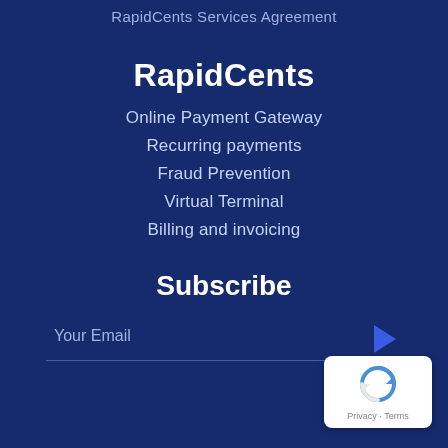RapidCents Services Agreement
RapidCents
Online Payment Gateway
Recurring payments
Fraud Prevention
Virtual Terminal
Billing and invoicing
Subscribe
Your Email
[Figure (logo): reCAPTCHA badge with Privacy and Terms links]